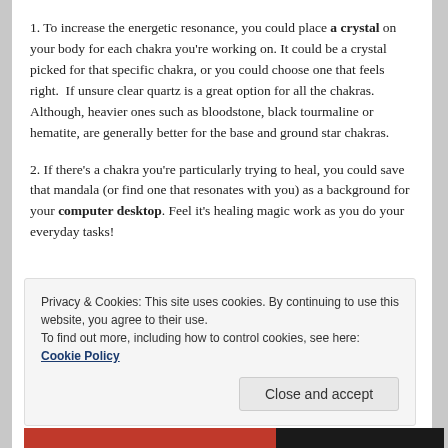1. To increase the energetic resonance, you could place a crystal on your body for each chakra you're working on. It could be a crystal picked for that specific chakra, or you could choose one that feels right.  If unsure clear quartz is a great option for all the chakras. Although, heavier ones such as bloodstone, black tourmaline or hematite, are generally better for the base and ground star chakras.
2. If there's a chakra you're particularly trying to heal, you could save that mandala (or find one that resonates with you) as a background for your computer desktop. Feel it's healing magic work as you do your everyday tasks!
Privacy & Cookies: This site uses cookies. By continuing to use this website, you agree to their use.
To find out more, including how to control cookies, see here: Cookie Policy